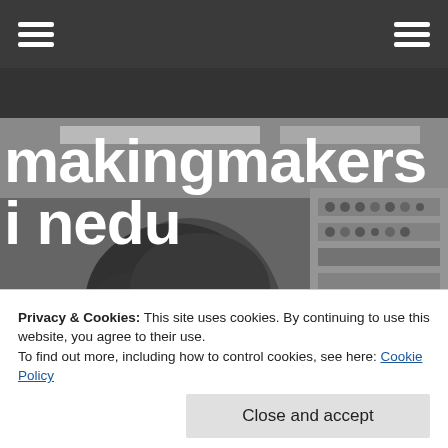makingmakersi nedu — navigation header
[Figure (photo): Black and white photograph of a young person with curly dark hair, wearing a light shirt, working at a large vintage computer or control panel with many switches and dials. Background shows an industrial/scientific computing environment.]
makingmakersi nedu
Traci Bonde, CTO
Privacy & Cookies: This site uses cookies. By continuing to use this website, you agree to their use.
To find out more, including how to control cookies, see here: Cookie Policy
Close and accept